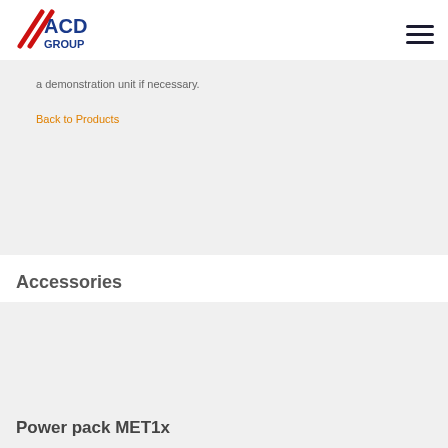ACD GROUP
a demonstration unit if necessary.
Back to Products
Accessories
[Figure (other): Gray placeholder image area for accessory product]
Power pack MET1x